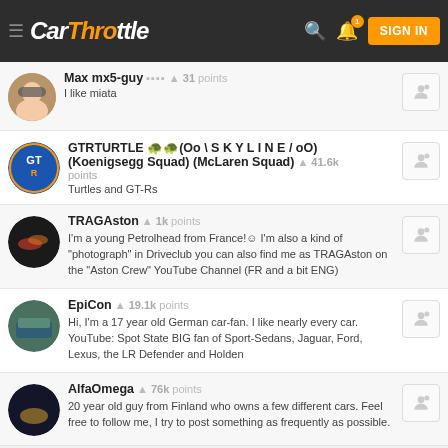CarThrottle — SIGN IN
Max mx5-guy ▲ 31 points — I like miata
GTRTURTLE 🐢🐢(Oo \ S K Y L I N E / oO) (Koenigsegg Squad) (McLaren Squad) ▲ 41.6k points — Turtles and GT-Rs
TRAGAston ▲ 1k points — I'm a young Petrolhead from France!☺ I'm also a kind of "photograph" in Driveclub you can also find me as TRAGAston on the "Aston Crew" YouTube Channel (FR and a bit ENG)
EpiCon ▲ 19.1k points — Hi, I'm a 17 year old German car-fan. I like nearly every car. YouTube: Spot State BIG fan of Sport-Sedans, Jaguar, Ford, Lexus, the LR Defender and Holden
AlfaOmega ▲ 76k points — 20 year old guy from Finland who owns a few different cars. Feel free to follow me, I try to post something as frequently as possible.